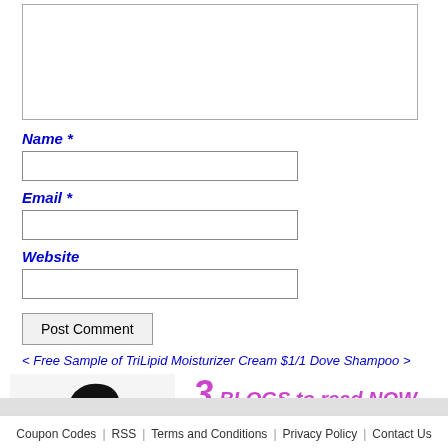[textarea form field]
Name *
[Name input field]
Email *
[Email input field]
Website
[Website input field]
Post Comment
< Free Sample of TriLipid Moisturizer Cream $1/1 Dove Shampoo >
[Figure (illustration): Woman sitting at laptop computer, used as decorative image next to '3 BLOGS to read NOW' promotional section]
3 BLOGS to read NOW
Save Money on Discounted Items from Big Box Stores
AMC Theaters Offers $5 Movies On Discount Tuesdays
Frugal Summer Fun
Coupon Codes | RSS | Terms and Conditions | Privacy Policy | Contact Us